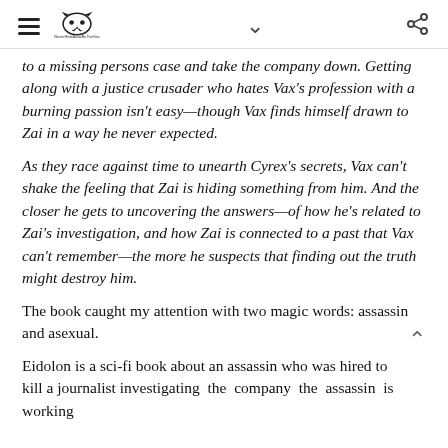NeverHeldAway By The Sea [logo with cat icon, hamburger menu, chevron, share icon]
to a missing persons case and take the company down. Getting along with a justice crusader who hates Vax's profession with a burning passion isn't easy—though Vax finds himself drawn to Zai in a way he never expected.
As they race against time to unearth Cyrex's secrets, Vax can't shake the feeling that Zai is hiding something from him. And the closer he gets to uncovering the answers—of how he's related to Zai's investigation, and how Zai is connected to a past that Vax can't remember—the more he suspects that finding out the truth might destroy him.
The book caught my attention with two magic words: assassin and asexual.
Eidolon is a sci-fi book about an assassin who was hired to kill a journalist investigating the company the assassin is working